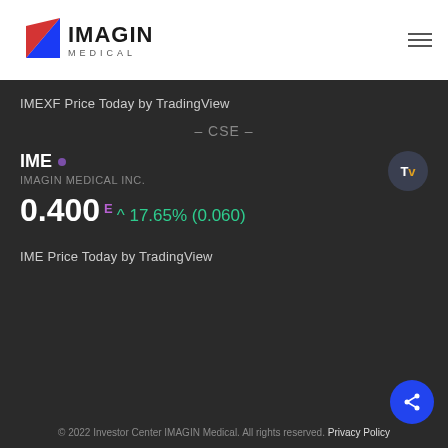[Figure (logo): Imagin Medical logo with blue/red triangle and IMAGIN MEDICAL text]
IMEXF Price Today by TradingView
– CSE –
IME • IMAGIN MEDICAL INC. 0.400 E ^ 17.65% (0.060)
IME Price Today by TradingView
© 2022 Investor Center IMAGIN Medical. All rights reserved. Privacy Policy